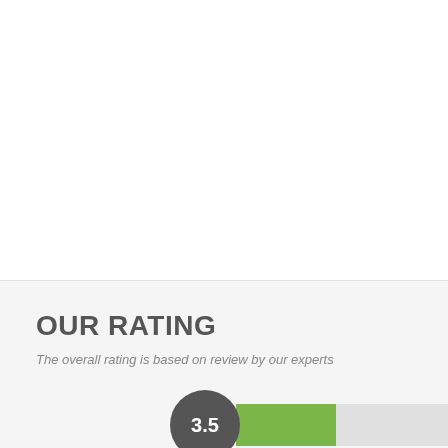OUR RATING
The overall rating is based on review by our experts
[Figure (infographic): Rating display showing a dark gray circle with '3.5' in white text, followed by a horizontal bar split into a green filled portion and a light gray unfilled portion, representing a 3.5 out of 5 rating scale.]